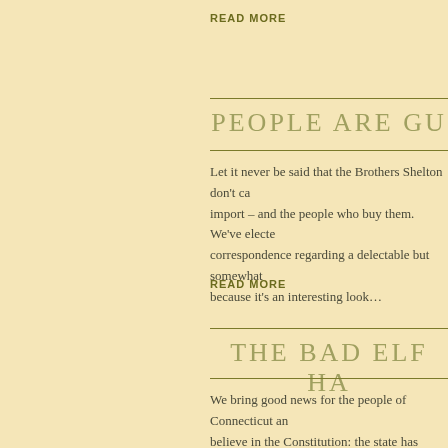READ MORE
PEOPLE ARE GU...
Let it never be said that the Brothers Shelton don't ca... import – and the people who buy them. We've electe... correspondence regarding a delectable but somewhat... because it's an interesting look…
READ MORE
THE BAD ELF HA...
We bring good news for the people of Connecticut an... believe in the Constitution: the state has relented! No... Seriously Bad Elf and Warm Welcome will indeed be... throughout Connecticut, it is important...